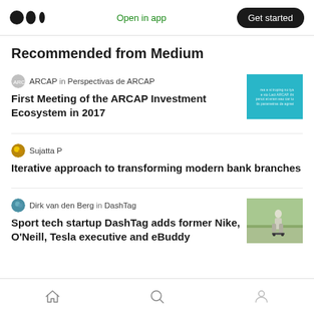Open in app | Get started
Recommended from Medium
ARCAP in Perspectivas de ARCAP
First Meeting of the ARCAP Investment Ecosystem in 2017
[Figure (illustration): Cyan/teal colored thumbnail image with small text overlay]
Sujatta P
Iterative approach to transforming modern bank branches
Dirk van den Berg in DashTag
Sport tech startup DashTag adds former Nike, O'Neill, Tesla executive and eBuddy
[Figure (photo): Photo of a person skateboarding on a road]
Home | Search | Profile